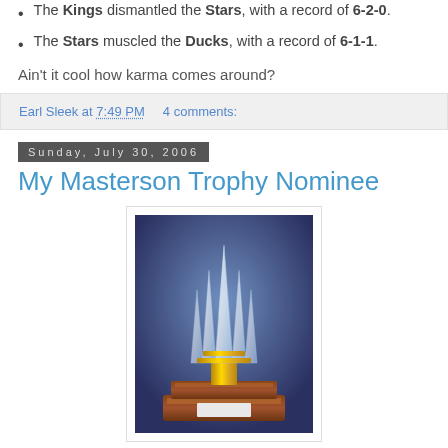The Kings dismantled the Stars, with a record of 6-2-0.
The Stars muscled the Ducks, with a record of 6-1-1.
Ain't it cool how karma comes around?
Earl Sleek at 7:49 PM    4 comments:
Sunday, July 30, 2006
My Masterson Trophy Nominee
[Figure (photo): Photo of the Masterson Trophy — a tall ornate crystal and gold hockey trophy on a wooden base]
Persistence, Sportsmanship, and Dedication to Hockey